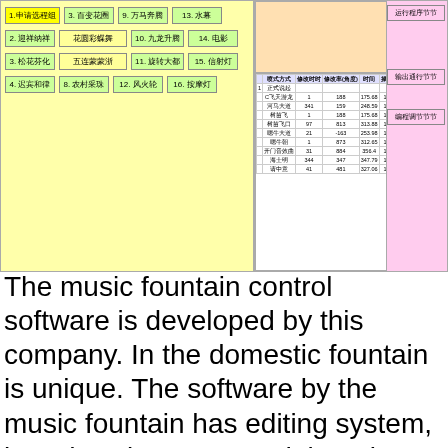[Figure (screenshot): Screenshot of music fountain control software interface showing a left yellow panel with Chinese-labeled buttons for different fountain modes, and a right pink panel with a data table showing fountain parameters in Chinese.]
The music fountain control software is developed by this company. In the domestic fountain is unique. The software by the music fountain has editing system, broadcasting system, debugging the system. Let me make a brief introduction of its powerful functions.
1) Music fountain broadcasting system
Into the broadcast system, layout clear fountain in front of us, every pump, each set of lights has a corresponding, unified symbol. As long as easy to use the mouse to click the play button, can broadcast music fountain. At the same